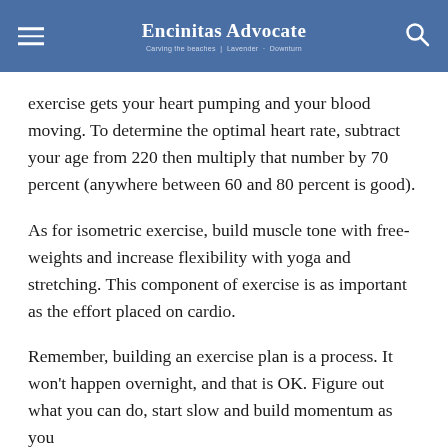Encinitas Advocate | Carving the beaches | Lavender · Downturn
exercise gets your heart pumping and your blood moving. To determine the optimal heart rate, subtract your age from 220 then multiply that number by 70 percent (anywhere between 60 and 80 percent is good).
As for isometric exercise, build muscle tone with free-weights and increase flexibility with yoga and stretching. This component of exercise is as important as the effort placed on cardio.
Remember, building an exercise plan is a process. It won't happen overnight, and that is OK. Figure out what you can do, start slow and build momentum as you